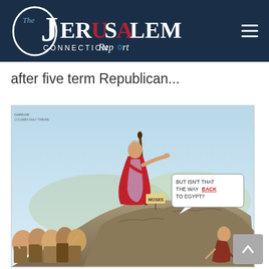The Jerusalem Connection Report
after five term Republican...
[Figure (illustration): Political cartoon showing a Moses-like figure standing on a rocky outcrop holding a staff and pointing forward, dressed in red robes, with a crowd below and a speech bubble reading 'BUT ISN'T THAT THE WAY BACK TO EGYPT?' A sign reads 'MOSES'.]